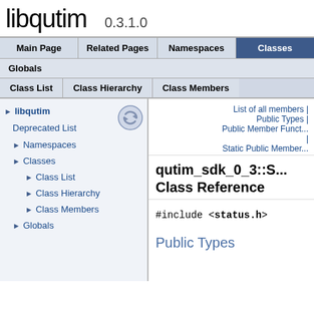libqutim 0.3.1.0
| Main Page | Related Pages | Namespaces | Classes |
| --- | --- | --- | --- |
| Globals |
| --- |
| Class List | Class Hierarchy | Class Members |
| --- | --- | --- |
libqutim
Deprecated List
Namespaces
Classes
Class List
Class Hierarchy
Class Members
Globals
List of all members | Public Types | Public Member Funct... | Static Public Member...
qutim_sdk_0_3::S... Class Reference
#include <status.h>
Public Types